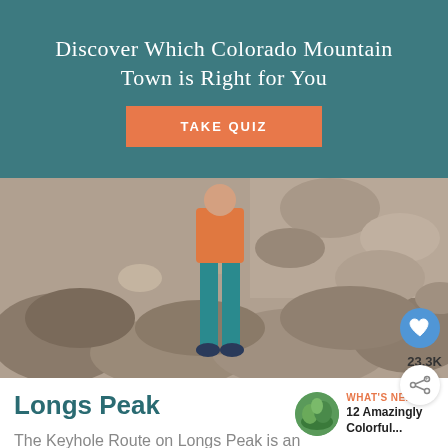Discover Which Colorado Mountain Town is Right for You
TAKE QUIZ
[Figure (photo): Person in orange shirt and teal pants standing on rocky mountain terrain, viewed from behind]
23.3K
Longs Peak
WHAT'S NEXT → 12 Amazingly Colorful...
The Keyhole Route on Longs Peak is an